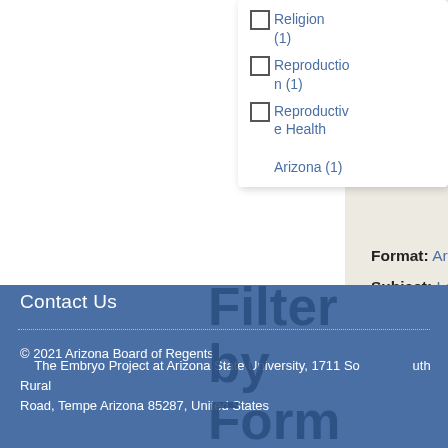distinct cell lines present in one body, state accused Fawcett of fraud and filed a case against her.
Format: Articles
Subject: Legal, People
Religion (1)
Reproduction (1)
Reproductive Health Arizona (1)
Technologies (1)
Filter by Format
Contact Us
© 2021 Arizona Board of Regents
The Embryo Project at Arizona State University, 1711 South Rural Road, Tempe Arizona 85287, United States